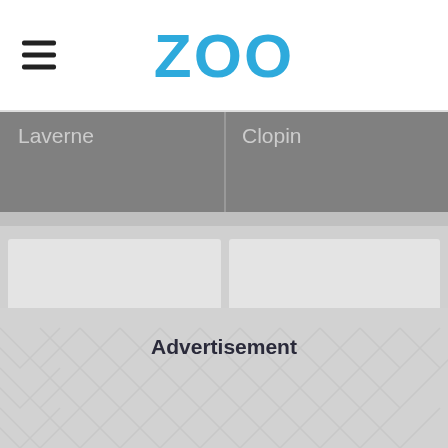ZOO
Laverne
Clopin
Esmeralda
Djali
Advertisement